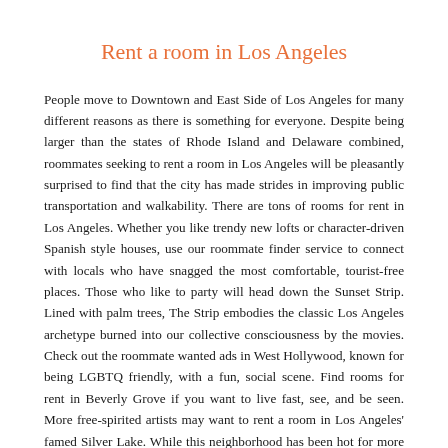Rent a room in Los Angeles
People move to Downtown and East Side of Los Angeles for many different reasons as there is something for everyone. Despite being larger than the states of Rhode Island and Delaware combined, roommates seeking to rent a room in Los Angeles will be pleasantly surprised to find that the city has made strides in improving public transportation and walkability. There are tons of rooms for rent in Los Angeles. Whether you like trendy new lofts or character-driven Spanish style houses, use our roommate finder service to connect with locals who have snagged the most comfortable, tourist-free places. Those who like to party will head down the Sunset Strip. Lined with palm trees, The Strip embodies the classic Los Angeles archetype burned into our collective consciousness by the movies. Check out the roommate wanted ads in West Hollywood, known for being LGBTQ friendly, with a fun, social scene. Find rooms for rent in Beverly Grove if you want to live fast, see, and be seen. More free-spirited artists may want to rent a room in Los Angeles' famed Silver Lake. While this neighborhood has been hot for more than a decade, it still feels like it is up and coming. Find rooms for rent in the hip neighborhood of Echo Park, which also happens to have access to four freeways. Its residents are more diverse and younger than its more prominent neighborhoods, but